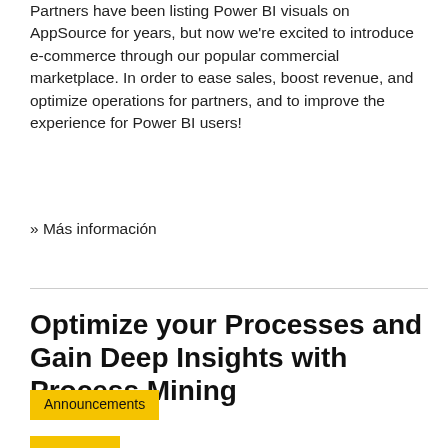Partners have been listing Power BI visuals on AppSource for years, but now we're excited to introduce e-commerce through our popular commercial marketplace. In order to ease sales, boost revenue, and optimize operations for partners, and to improve the experience for Power BI users!
» Más información
Optimize your Processes and Gain Deep Insights with Process Mining
Announcements
Features